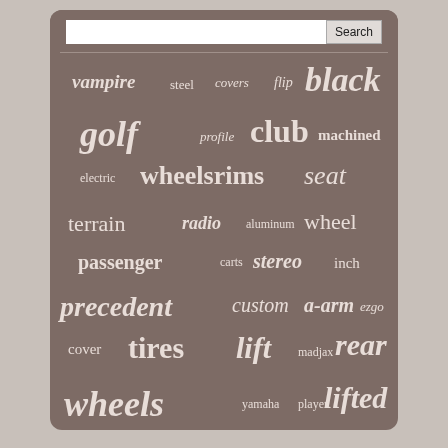[Figure (infographic): A tag cloud / word cloud on a brownish-grey background showing golf cart related search terms in varying sizes and styles. Terms include: vampire, steel, covers, flip, black, golf, profile, club, machined, electric, wheelsrims, seat, terrain, radio, aluminum, wheel, passenger, carts, stereo, inch, precedent, custom, a-arm, ezgo, cover, tires, lift, madjax, rear, wheels, yamaha, player, lifted, cart, front. A search bar with a Search button appears at the top.]